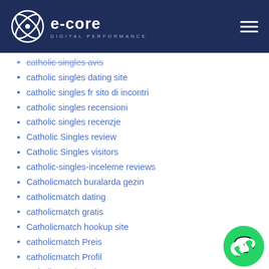e-core DIGITAL PERFORMANCE
catholic singles avis
catholic singles dating site
catholic singles fr sito di incontri
catholic singles recensioni
catholic singles recenzje
Catholic Singles review
Catholic Singles visitors
catholic-singles-inceleme reviews
Catholicmatch buralarda gezin
catholicmatch dating
catholicmatch gratis
Catholicmatch hookup site
catholicmatch Preis
catholicmatch Profil
catholicmatch review
CatholicMatch reviews
catholicmatch revisi?n
catholicmatch sign in
catholicmatch visitors
catholicmatch_NL dating
catholicmatch-inceleme tanД±Eцma
[Figure (logo): WhatsApp chat button icon, bottom right corner]